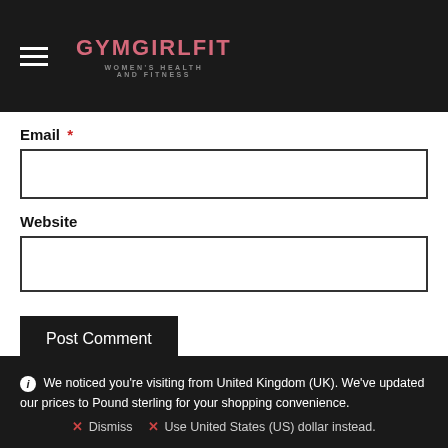GYMGIRLFIT WOMEN'S HEALTH AND FITNESS
Email *
Website
Post Comment
We noticed you're visiting from United Kingdom (UK). We've updated our prices to Pound sterling for your shopping convenience. ✕ Dismiss  ✕ Use United States (US) dollar instead.